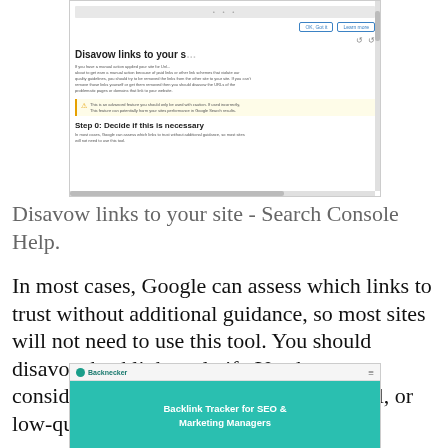[Figure (screenshot): Screenshot of Google Search Console 'Disavow links to your site' help page showing the tool interface with warning message and Step 0 instructions]
Disavow links to your site - Search Console Help.
In most cases, Google can assess which links to trust without additional guidance, so most sites will not need to use this tool. You should disavow backlinks only if.: You have a considerable number of spammy, artificial, or low-quality links pointing to your site.,
https://keyboost.fr/backlink/
[Figure (screenshot): Screenshot of Backnecker website showing teal header with 'Backlink Tracker for SEO & Marketing Managers' headline]